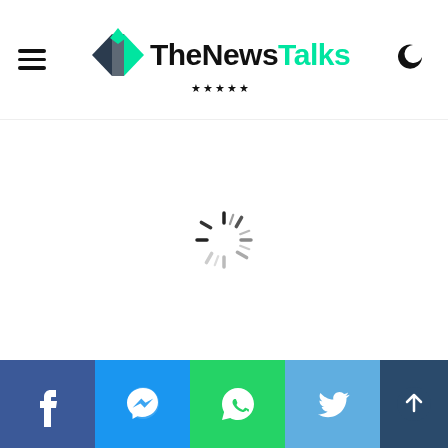TheNewsTalks — site header with hamburger menu, logo, and dark mode toggle
[Figure (screenshot): Loading spinner (circular dashed ring) centered in a blank white content area]
Social share bar: Facebook, Messenger, WhatsApp, Twitter, Share/Up buttons